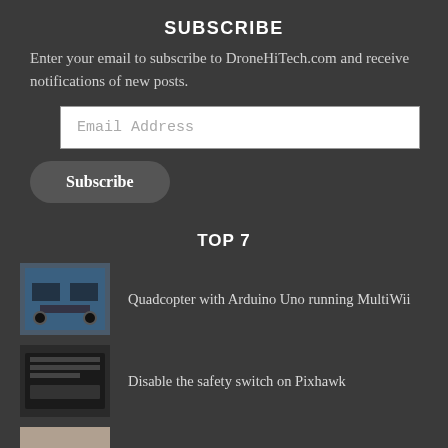SUBSCRIBE
Enter your email to subscribe to DroneHiTech.com and receive notifications of new posts.
Email Address
Subscribe
TOP 7
Quadcopter with Arduino Uno running MultiWii
Disable the safety switch on Pixhawk
T-Motor F80–Should you go for it?
FrSky Taranis X-Lite Transmitter Review